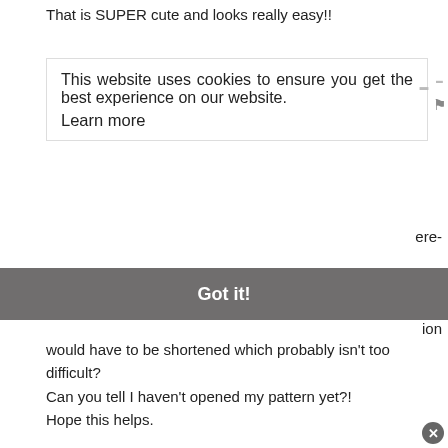That is SUPER cute and looks really easy!!
This website uses cookies to ensure you get the best experience on our website. Learn more
ere-
Got it!
ion would have to be shortened which probably isn't too difficult? Can you tell I haven't opened my pattern yet?! Hope this helps.
TheFoleyFive
10 years ago
I have done the following two and they work wonderfully and come close to this same look
http://madeinpretoria.wordp...
http://passionsforfashion.d...